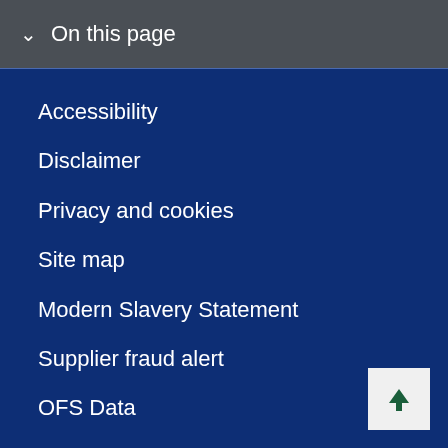On this page
Accessibility
Disclaimer
Privacy and cookies
Site map
Modern Slavery Statement
Supplier fraud alert
OFS Data
Contact the university